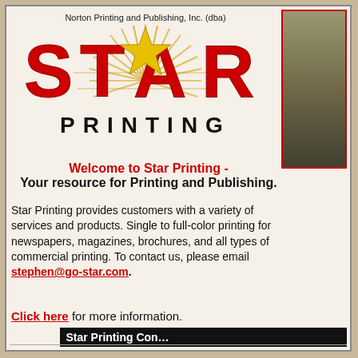Norton Printing and Publishing, Inc. (dba)
[Figure (logo): Star Printing logo with large red STAR text and gold star graphic, rays emanating from center, with PRINTING text below in spaced black letters]
[Figure (photo): Partial photo of a building exterior, cut off on right side]
Welcome to Star Printing - Your resource for Printing and Publishing.
Star Printing provides customers with a variety of services and products. Single to full-color printing for newspapers, magazines, brochures, and all types of commercial printing. To contact us, please email stephen@go-star.com.
Click here for more information.
| Star Printing Con... | Phone... / Toll Fr... / Fax:... |
| --- | --- |
| P.O. Box 390
4140 Southside Drive
Acworth, GA  30101 | Phone...
Toll Fr...
Fax: (... |
Below you will find a link to our